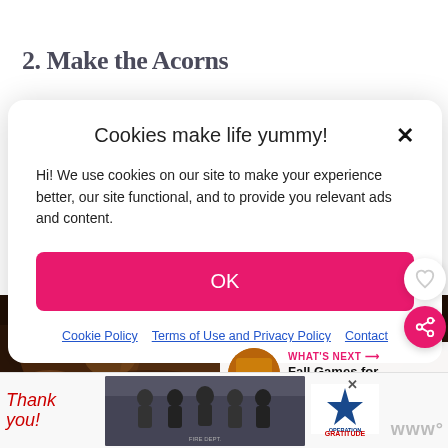2. Make the Acorns
Cookies make life yummy!
Hi! We use cookies on our site to make your experience better, our site functional, and to provide you relevant ads and content.
OK
Cookie Policy   Terms of Use and Privacy Policy   Contact
[Figure (photo): Dark close-up background photo of acorns/chocolate cookies]
[Figure (photo): What's Next thumbnail - Fall Games for Kids and...]
[Figure (photo): Advertisement banner: Thank you Operation Gratitude with firefighters photo]